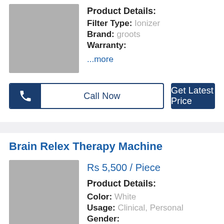[Figure (photo): Gray placeholder image for product (top section)]
Product Details:
Filter Type: Ionizer
Brand: groots
Warranty:
...more
Call Now
Get Latest Price
Brain Relex Therapy Machine
Rs 5,500 / Piece
[Figure (photo): Gray placeholder image for Brain Relex Therapy Machine product]
Product Details:
Color: White
Usage: Clinical, Personal
Gender:
...more